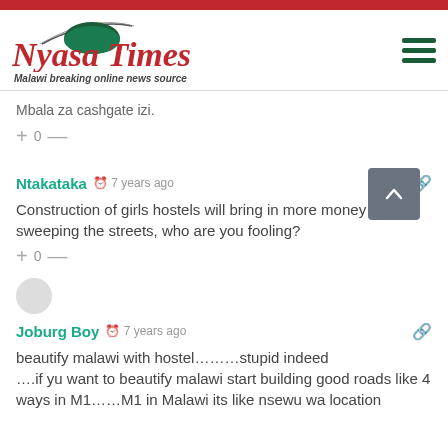Nyasa Times — Malawi breaking online news source
Mbala za cashgate izi.
+ 0 —
Ntakataka  7 years ago
Construction of girls hostels will bring in more money than sweeping the streets, who are you fooling?
+ 0 —
Joburg Boy  7 years ago
beautify malawi with hostel………stupid indeed ….if yu want to beautify malawi start building good roads like 4 ways in M1……M1 in Malawi its like nsewu wa location